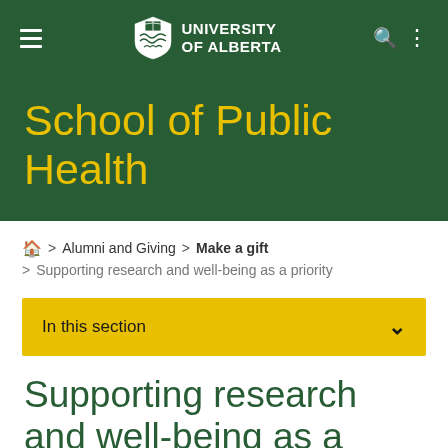University of Alberta — School of Public Health
School of Public Health
🏠 > Alumni and Giving > Make a gift
> Supporting research and well-being as a priority
In this section
Supporting research and well-being as a